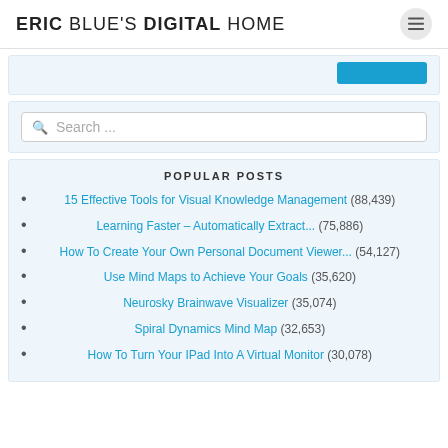ERIC BLUE'S DIGITAL HOME
POPULAR POSTS
15 Effective Tools for Visual Knowledge Management (88,439)
Learning Faster – Automatically Extract... (75,886)
How To Create Your Own Personal Document Viewer... (54,127)
Use Mind Maps to Achieve Your Goals (35,620)
Neurosky Brainwave Visualizer (35,074)
Spiral Dynamics Mind Map (32,653)
How To Turn Your IPad Into A Virtual Monitor (30,078)